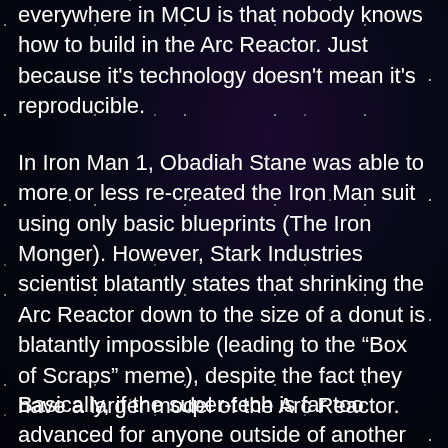everywhere in MCU is that nobody knows how to build in the Arc Reactor. Just because it's technology doesn't mean it's reproducible.
In Iron Man 1, Obadiah Stane was able to more or less re-created the Iron Man suit using only basic blueprints (The Iron Monger). However, Stark Industries scientist blatantly states that shrinking the Arc Reactor down to the size of a donut is blatantly impossible (leading to the “Box of Scraps” meme), despite the fact they have a larger model of the Arc Reactor.
Basically, if the super-tech is far too advanced for anyone outside of another super-genius to do it. I can send a computer back to the Romans, but they